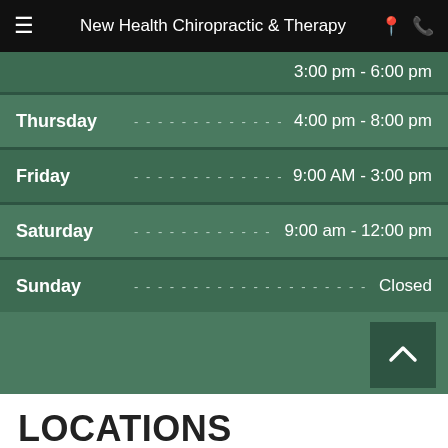New Health Chiropractic & Therapy
| Day | Hours |
| --- | --- |
|  | 3:00 pm - 6:00 pm |
| Thursday | 4:00 pm - 8:00 pm |
| Friday | 9:00 AM - 3:00 pm |
| Saturday | 9:00 am - 12:00 pm |
| Sunday | Closed |
LOCATIONS
Find us on the map